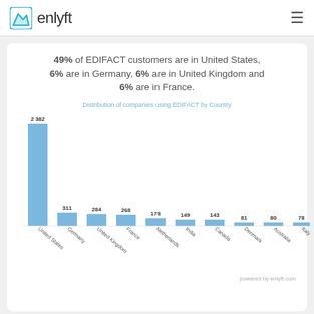enlyft
49% of EDIFACT customers are in United States, 6% are in Germany, 6% are in United Kingdom and 6% are in France.
[Figure (bar-chart): Distribution of companies using EDIFACT by Country]
powered by enlyft.com